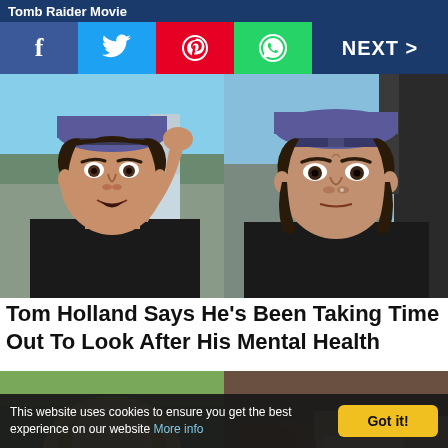Tomb Raider Movie
[Figure (screenshot): Social share bar with Facebook, Twitter, Pinterest, WhatsApp buttons and NEXT > button on dark blue background]
[Figure (photo): Two side-by-side photos of Tom Holland wearing a backwards cap — left photo shows him speaking with hand raised to head, right photo shows him looking serious at camera]
Tom Holland Says He's Been Taking Time Out To Look After His Mental Health
[Figure (photo): Two partially visible bottom photos — left shows a blonde person outdoors with green foliage, right shows people together]
This website uses cookies to ensure you get the best experience on our website More info